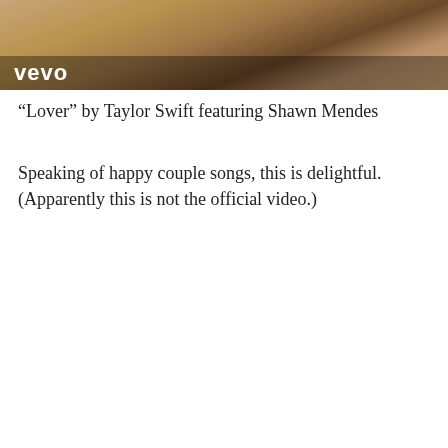[Figure (screenshot): Video thumbnail from Vevo showing a beach scene with a person with long hair, with the Vevo logo watermark in the bottom left]
“Lover” by Taylor Swift featuring Shawn Mendes
Speaking of happy couple songs, this is delightful. (Apparently this is not the official video.)
[Figure (screenshot): Embedded YouTube/Vevo video player showing Taylor Swift ft. Shawn Mendes with a hummingbird app icon, a play button, and a thumbnail of Taylor Swift holding a sunflower, with Vevo watermark]